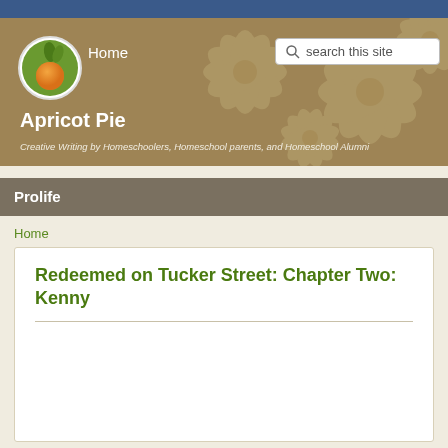[Figure (illustration): Website banner for Apricot Pie with decorative flower pattern in tan/brown, an orange logo, Home link, and search box]
Apricot Pie
Creative Writing by Homeschoolers, Homeschool parents, and Homeschool Alumni
Prolife
Home
Redeemed on Tucker Street: Chapter Two: Kenny
Submitted by Sarah Liz on Wed, 12/21/2016 - 16:48